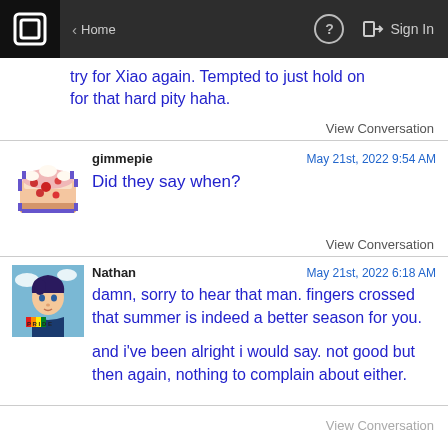Home | ? | Sign In
try for Xiao again. Tempted to just hold on for that hard pity haha.
View Conversation
gimmepie   May 21st, 2022 9:54 AM
Did they say when?
View Conversation
Nathan   May 21st, 2022 6:18 AM
damn, sorry to hear that man. fingers crossed that summer is indeed a better season for you.

and i've been alright i would say. not good but then again, nothing to complain about either.
View Conversation